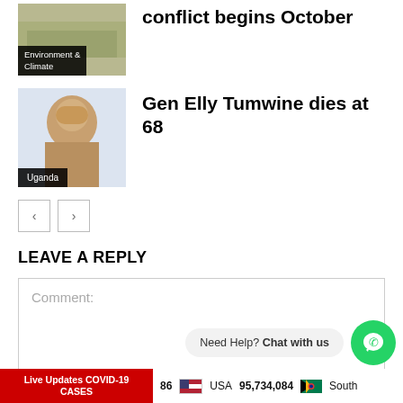[Figure (photo): Thumbnail image of outdoor/nature scene with Environment & Climate label]
conflict begins October
[Figure (photo): Thumbnail image of person (Gen Elly Tumwine) with Uganda label]
Gen Elly Tumwine dies at 68
LEAVE A REPLY
Comment:
Need Help? Chat with us
Live Updates COVID-19 CASES   86   USA 95,734,084   South